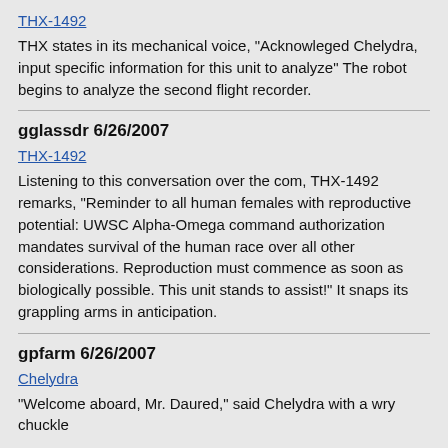THX-1492 (link)
THX states in its mechanical voice, "Acknowleged Chelydra, input specific information for this unit to analyze" The robot begins to analyze the second flight recorder.
gglassdr 6/26/2007
THX-1492 (link)
Listening to this conversation over the com, THX-1492 remarks, "Reminder to all human females with reproductive potential: UWSC Alpha-Omega command authorization mandates survival of the human race over all other considerations. Reproduction must commence as soon as biologically possible. This unit stands to assist!" It snaps its grappling arms in anticipation.
gpfarm 6/26/2007
Chelydra (link)
"Welcome aboard, Mr. Daured," said Chelydra with a wry chuckle